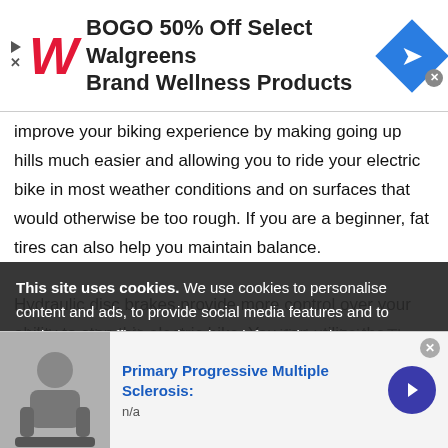[Figure (other): Walgreens advertisement banner: BOGO 50% Off Select Walgreens Brand Wellness Products, with Walgreens W logo and navigation arrow diamond icon]
improve your biking experience by making going up hills much easier and allowing you to ride your electric bike in most weather conditions and on surfaces that would otherwise be too rough. If you are a beginner, fat tires can also help you maintain balance.
Hydraulic disc brakes provide more control over your ability to stop this electric bike. You can utilize the brakes with the handlebar grip which can be adjusted to your specific hand size. The handlebar also features the display, this display shows a number of tools such as an odometer, a battery level indicator and a clock. This
of our site with our social media, advertising and analytics
[Figure (other): Cookie consent overlay: This site uses cookies. We use cookies to personalise content and ads, to provide social media features and to analyse our traffic. We also share information about your use of our site with our social media, advertising and analytics]
[Figure (other): Bottom advertisement for Primary Progressive Multiple Sclerosis with photo of person and navigation arrow. Text: Primary Progressive Multiple Sclerosis: n/a]